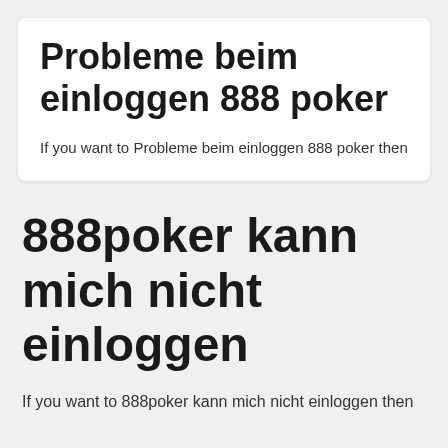Probleme beim einloggen 888 poker
If you want to Probleme beim einloggen 888 poker then
888poker kann mich nicht einloggen
If you want to 888poker kann mich nicht einloggen then